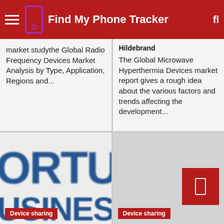Find My Phone Tracker
market studythe Global Radio Frequency Devices Market Analysis by Type, Application, Regions and...
Hildebrand
The Global Microwave Hyperthermia Devices market report gives a rough idea about the various factors and trends affecting the development...
[Figure (logo): Cropped image showing large bold blue text reading 'ORTU' and 'USINESS IN' (partial Fortune Business Insights logo)]
Device sharing
[Figure (other): Light grey placeholder image with a red box containing a small white phone icon in the bottom right]
Device sharing